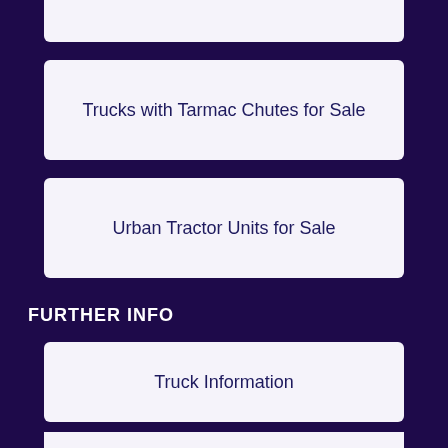Trucks with Tarmac Chutes for Sale
Urban Tractor Units for Sale
FURTHER INFO
Truck Information
Get in Touch